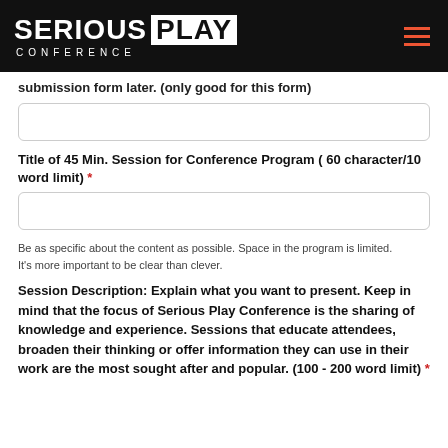SERIOUS PLAY CONFERENCE
submission form later. (only good for this form)
Title of 45 Min. Session for Conference Program ( 60 character/10 word limit) *
Be as specific about the content as possible. Space in the program is limited. It's more important to be clear than clever.
Session Description: Explain what you want to present. Keep in mind that the focus of Serious Play Conference is the sharing of knowledge and experience. Sessions that educate attendees, broaden their thinking or offer information they can use in their work are the most sought after and popular. (100 - 200 word limit) *